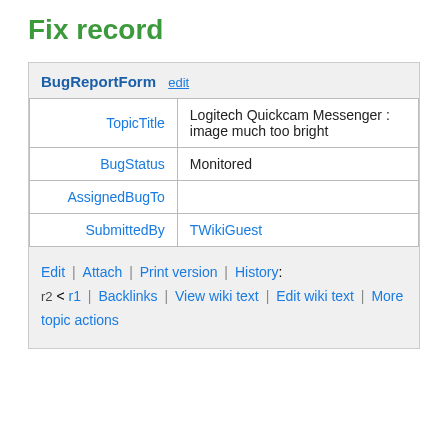Fix record
| Field | Value |
| --- | --- |
| TopicTitle | Logitech Quickcam Messenger : image much too bright |
| BugStatus | Monitored |
| AssignedBugTo |  |
| SubmittedBy | TWikiGuest |
Edit | Attach | Print version | History: r2 < r1 | Backlinks | View wiki text | Edit wiki text | More topic actions